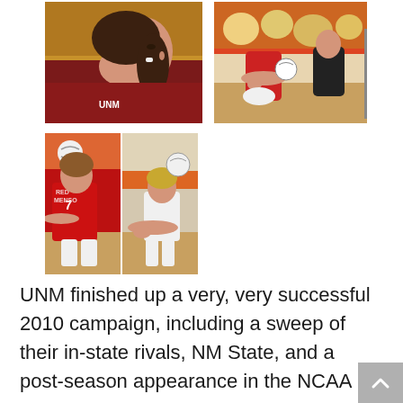[Figure (photo): Close-up profile photo of a female volleyball player in a maroon/dark red jersey looking upward, with dark hair in a ponytail]
[Figure (photo): Action photo of female volleyball players in red and white uniforms during a game, one player digging the ball]
[Figure (photo): Two side-by-side action photos of female volleyball players in red jerseys (number 7 visible), playing volleyball with a ball visible]
UNM finished up a very, very successful 2010 campaign, including a sweep of their in-state rivals, NM State, and a post-season appearance in the NCAA tournament.